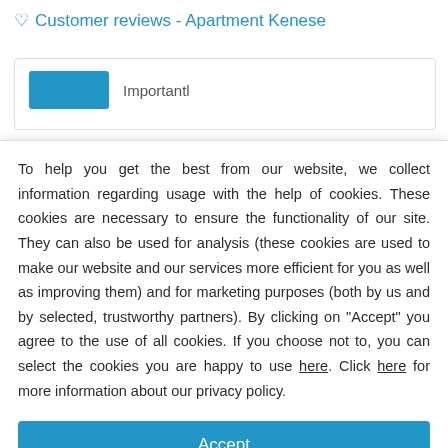♡ Customer reviews - Apartment Kenese
Importantl
To help you get the best from our website, we collect information regarding usage with the help of cookies. These cookies are necessary to ensure the functionality of our site. They can also be used for analysis (these cookies are used to make our website and our services more efficient for you as well as improving them) and for marketing purposes (both by us and by selected, trustworthy partners). By clicking on "Accept" you agree to the use of all cookies. If you choose not to, you can select the cookies you are happy to use here. Click here for more information about our privacy policy.
Accept
Decline
Configure